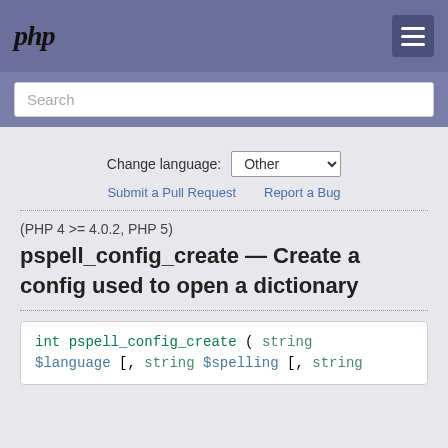php
Search
Change language: Other
Submit a Pull Request   Report a Bug
(PHP 4 >= 4.0.2, PHP 5)
pspell_config_create — Create a config used to open a dictionary
int pspell_config_create ( string $language [, string $spelling [, string